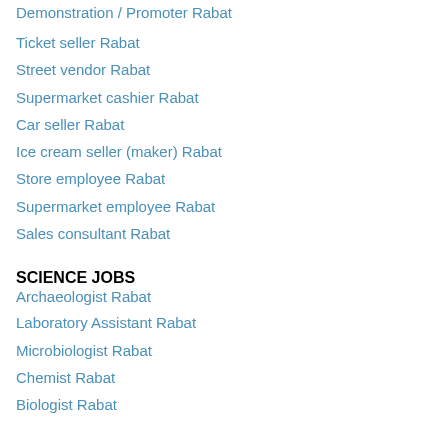Demonstration / Promoter Rabat
Ticket seller Rabat
Street vendor Rabat
Supermarket cashier Rabat
Car seller Rabat
Ice cream seller (maker) Rabat
Store employee Rabat
Supermarket employee Rabat
Sales consultant Rabat
SCIENCE JOBS
Archaeologist Rabat
Laboratory Assistant Rabat
Microbiologist Rabat
Chemist Rabat
Biologist Rabat